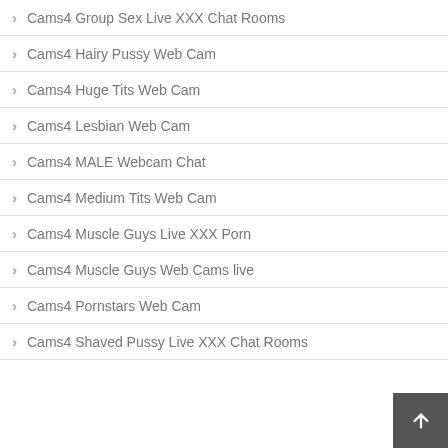Cams4 Group Sex Live XXX Chat Rooms
Cams4 Hairy Pussy Web Cam
Cams4 Huge Tits Web Cam
Cams4 Lesbian Web Cam
Cams4 MALE Webcam Chat
Cams4 Medium Tits Web Cam
Cams4 Muscle Guys Live XXX Porn
Cams4 Muscle Guys Web Cams live
Cams4 Pornstars Web Cam
Cams4 Shaved Pussy Live XXX Chat Rooms